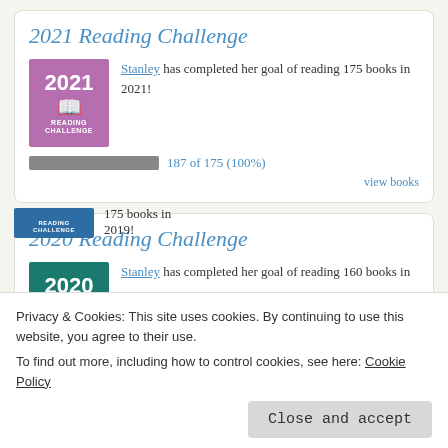2021 Reading Challenge
Stanley has completed her goal of reading 175 books in 2021!
187 of 175 (100%)
view books
2020 Reading Challenge
Stanley has completed her goal of reading 160 books in 2020!
Privacy & Cookies: This site uses cookies. By continuing to use this website, you agree to their use.
To find out more, including how to control cookies, see here: Cookie Policy
Close and accept
175 books in 2019!